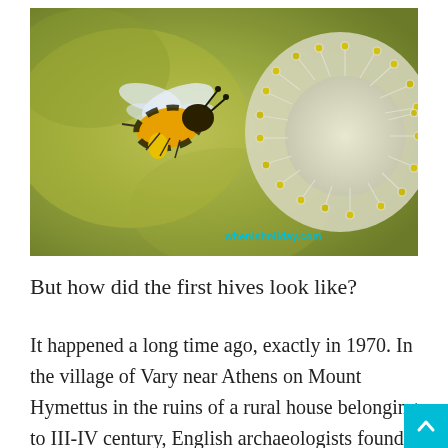[Figure (photo): A honeybee in flight approaching a fluffy white and yellow flower (likely a willow catkin), with a blurred olive-green background. Watermark reads 'whenisholiday.com' in cyan.]
But how did the first hives look like?
It happened a long time ago, exactly in 1970. In the village of Vary near Athens on Mount Hymettus in the ruins of a rural house belonging to III-IV century, English archaeologists found a large